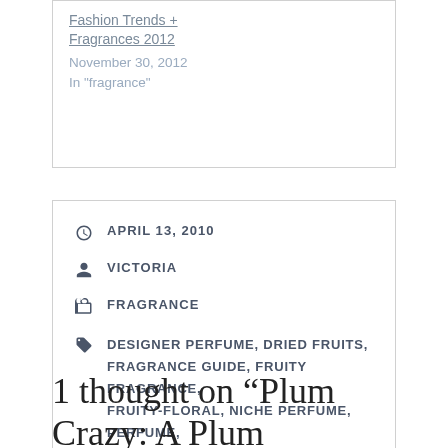Fashion Trends + Fragrances 2012
November 30, 2012
In "fragrance"
APRIL 13, 2010
VICTORIA
FRAGRANCE
DESIGNER PERFUME, DRIED FRUITS, FRAGRANCE GUIDE, FRUITY FRAGRANCE, FRUITY-FLORAL, NICHE PERFUME, PERFUME, PLUM, STONE FRUIT, SUMMER FRAGRANCE
1 thought on “Plum Crazy: A Plum Fragrance Guide”